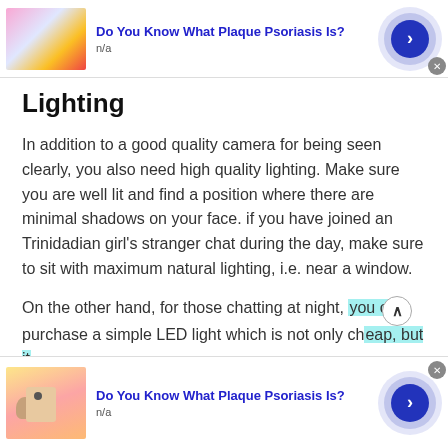[Figure (infographic): Advertisement banner at top: thumbnail image of colorful abstract/floral content, title 'Do You Know What Plaque Psoriasis Is?' with n/a subtitle, and a blue circular arrow button with close X]
Lighting
In addition to a good quality camera for being seen clearly, you also need high quality lighting. Make sure you are well lit and find a position where there are minimal shadows on your face. if you have joined an Trinidadian girl's stranger chat during the day, make sure to sit with maximum natural lighting, i.e. near a window.
On the other hand, for those chatting at night, you can purchase a simple LED light which is not only cheap, but it
[Figure (infographic): Advertisement banner at bottom: thumbnail image of skin/hand with mole, title 'Do You Know What Plaque Psoriasis Is?' with n/a subtitle, blue circular arrow button with close X]